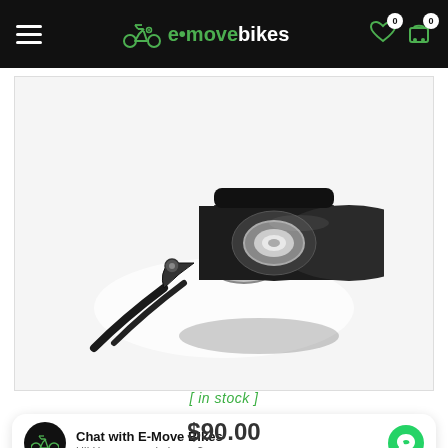e-move bikes
[Figure (photo): Close-up photo of a black e-bike thumb throttle component with metal ring mount on a white background]
[ in stock ]
Chat with E-Move Bikes
Hi! How can we help you?
$90.00